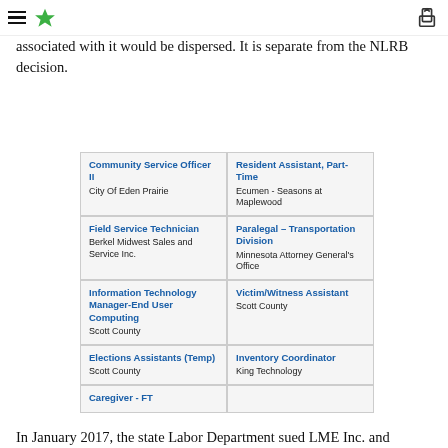Menu | Star logo | Share icon
associated with it would be dispersed. It is separate from the NLRB decision.
| Community Service Officer II
City Of Eden Prairie | Resident Assistant, Part-Time
Ecumen - Seasons at Maplewood |
| Field Service Technician
Berkel Midwest Sales and Service Inc. | Paralegal – Transportation Division
Minnesota Attorney General's Office |
| Information Technology Manager-End User Computing
Scott County | Victim/Witness Assistant
Scott County |
| Elections Assistants (Temp)
Scott County | Inventory Coordinator
King Technology |
| Caregiver - FT |  |
In January 2017, the state Labor Department sued LME Inc. and